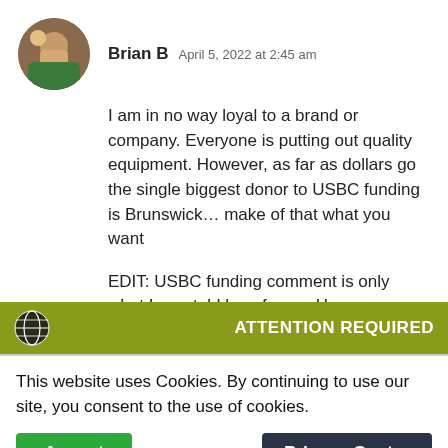Brian B   April 5, 2022 at 2:45 am
I am in no way loyal to a brand or company. Everyone is putting out quality equipment. However, as far as dollars go the single biggest donor to USBC funding is Brunswick… make of that what you want

EDIT: USBC funding comment is only what I was told by a former Hammer staffer and
ATTENTION REQUIRED
This website uses Cookies. By continuing to use our site, you consent to the use of cookies.
Accept
Privacy Center